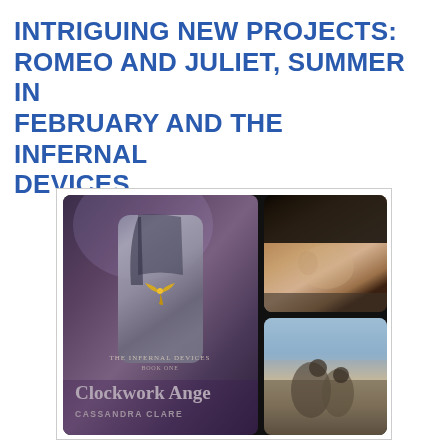INTRIGUING NEW PROJECTS: ROMEO AND JULIET, SUMMER IN FEBRUARY AND THE INFERNAL DEVICES
[Figure (photo): Collage image showing: left panel - book cover of 'Clockwork Angel' by Cassandra Clare (The Infernal Devices series) with a male figure in Victorian clothing and a golden bird emblem; top-right panel - close-up photo of a young man's face; bottom-right panel - photo of a couple (man and woman) sitting together on a beach.]